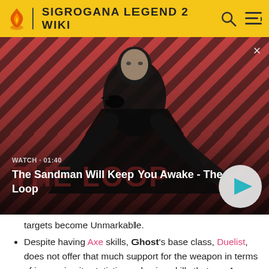SIGROGANA LEGEND 2 WIKI
[Figure (screenshot): Video banner for 'The Sandman Will Keep You Awake - The Loop', showing a dark-cloaked figure with a raven against a red and dark striped background. Shows WATCH · 01:40 label and a play button.]
targets become Unmarkable.
Despite having Axe skills, Ghost's base class, Duelist, does not offer that much support for the weapon in terms of increasing its statistics or having skills that use Axes, so that may limit a little your sub-class